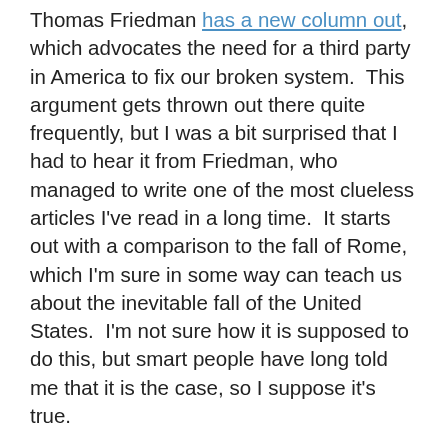Thomas Friedman has a new column out, which advocates the need for a third party in America to fix our broken system.  This argument gets thrown out there quite frequently, but I was a bit surprised that I had to hear it from Friedman, who managed to write one of the most clueless articles I've read in a long time.  It starts out with a comparison to the fall of Rome, which I'm sure in some way can teach us about the inevitable fall of the United States.  I'm not sure how it is supposed to do this, but smart people have long told me that it is the case, so I suppose it's true.
Friedman then moves on to his main argument; the American system is broken and it it going to cause a third party candidate to emerge.
But in talks here and elsewhere I continue to be astounded by the level of disgust with Washington, D.C.